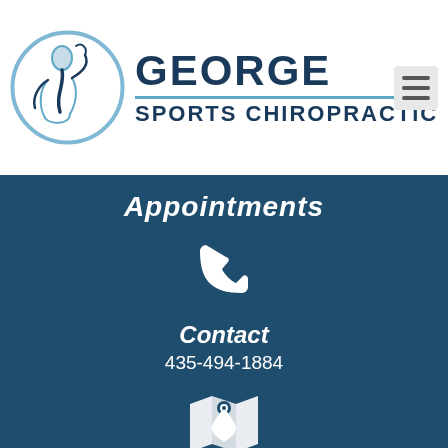[Figure (logo): George Sports Chiropractic logo: circle with spine/figure silhouette in blue/grey tones, with GEORGE in bold dark blue uppercase and SPORTS CHIROPRACTIC below]
Appointments
[Figure (illustration): White telephone handset icon on dark blue background]
Contact
435-494-1884
[Figure (illustration): White map with location pin icon on dark blue background]
Location